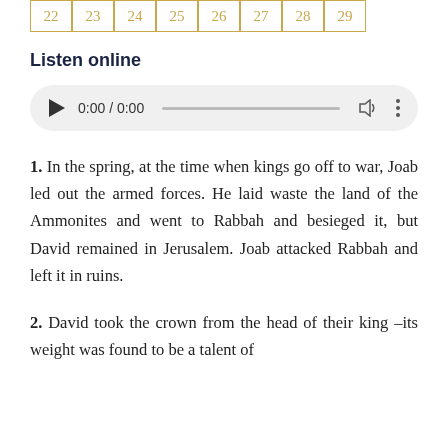| 22 | 23 | 24 | 25 | 26 | 27 | 28 | 29 |
| --- | --- | --- | --- | --- | --- | --- | --- |
Listen online
[Figure (other): Audio player with play button, time display showing 0:00 / 0:00, progress bar, volume icon, and more options icon]
1. In the spring, at the time when kings go off to war, Joab led out the armed forces. He laid waste the land of the Ammonites and went to Rabbah and besieged it, but David remained in Jerusalem. Joab attacked Rabbah and left it in ruins.
2. David took the crown from the head of their king –its weight was found to be a talent of